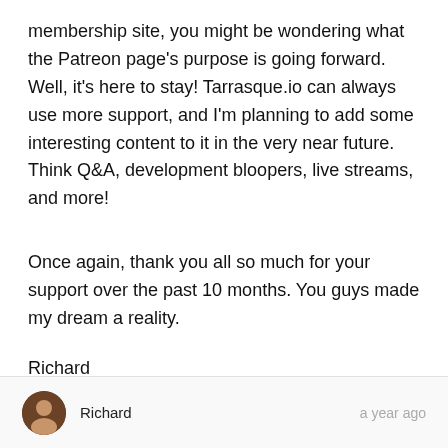membership site, you might be wondering what the Patreon page's purpose is going forward. Well, it's here to stay! Tarrasque.io can always use more support, and I'm planning to add some interesting content to it in the very near future. Think Q&A, development bloopers, live streams, and more!
Once again, thank you all so much for your support over the past 10 months. You guys made my dream a reality.
Richard
Richard   a year ago